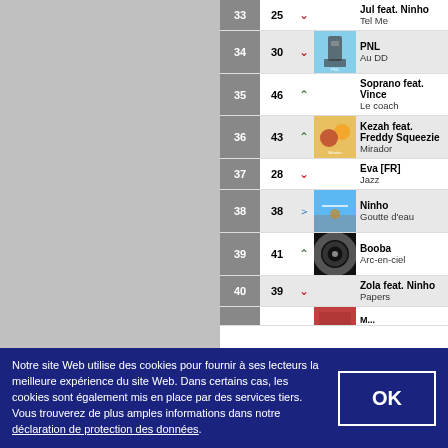| # | Prev | Trend | Cover | Artist / Title |
| --- | --- | --- | --- | --- |
| 33 | 25 | ↓ |  | Jul feat. Ninho / Tel Me |
| 34 | 30 | ↓ | PNL image | PNL / Au DD |
| 35 | 46 | ↑ |  | Soprano feat. Vince / Le coach |
| 36 | 43 | ↑ | Kezah image | Kezah feat. Freddy Squeezie / Mirador |
| 37 | 28 | ↓ |  | Eva [FR] / Jazz |
| 38 | 38 | → | Ninho image | Ninho / Goutte d'eau |
| 39 | 41 | ↑ | Booba image | Booba / Arc-en-ciel |
| 40 | 39 | ↓ |  | Zola feat. Ninho / Papers |
Notre site Web utilise des cookies pour fournir à ses lecteurs la meilleure expérience du site Web. Dans certains cas, les cookies sont également mis en place par des services tiers. Vous trouverez de plus amples informations dans notre déclaration de protection des données.